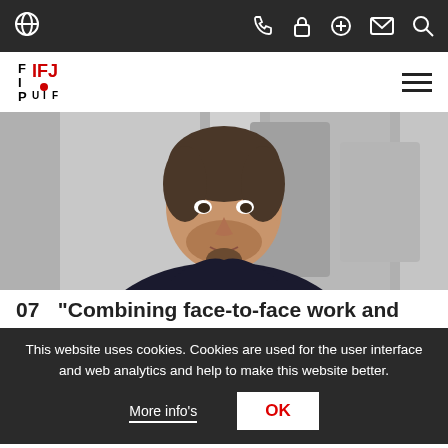IFJ website navigation bar with icons: globe, phone, lock, plus, mail, search
[Figure (logo): IFJ / FIP / UIJ logo in black and red]
[Figure (photo): Black and white photo of a man with short hair and beard, wearing a dark shirt, sitting in front of a grey paneled background]
07   "Combining face-to-face work and
This website uses cookies. Cookies are used for the user interface and web analytics and help to make this website better.
More info's   OK